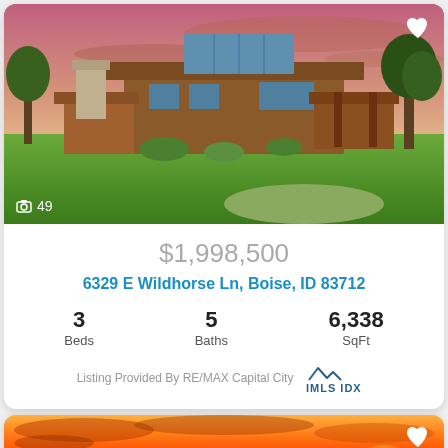[Figure (photo): Exterior photo of modern ranch-style home with flat roof at sunset, green lawn, trees]
49
$1,998,500
6329 E Wildhorse Ln, Boise, ID 83712
3 Beds
5 Baths
6,338 SqFt
Listing Provided By RE/MAX Capital City
[Figure (logo): IMLS IDX logo with mountain peaks]
[Figure (photo): Partial sunset sky photo with orange and red clouds]